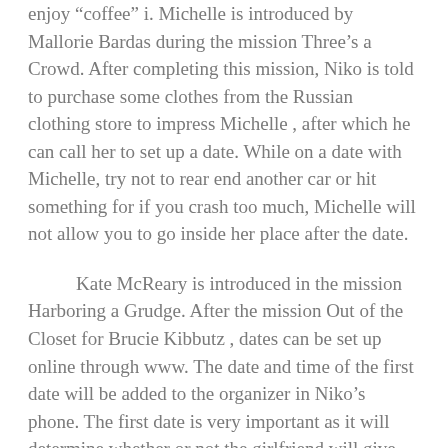enjoy “coffee” i. Michelle is introduced by Mallorie Bardas during the mission Three’s a Crowd. After completing this mission, Niko is told to purchase some clothes from the Russian clothing store to impress Michelle , after which he can call her to set up a date. While on a date with Michelle, try not to rear end another car or hit something for if you crash too much, Michelle will not allow you to go inside her place after the date.
Kate McReary is introduced in the mission Harboring a Grudge. After the mission Out of the Closet for Brucie Kibbutz , dates can be set up online through www. The date and time of the first date will be added to the organizer in Niko’s phone. The first date is very important as it will determine whether or not the girlfriend will give Niko her phone number so he can continue dating her.